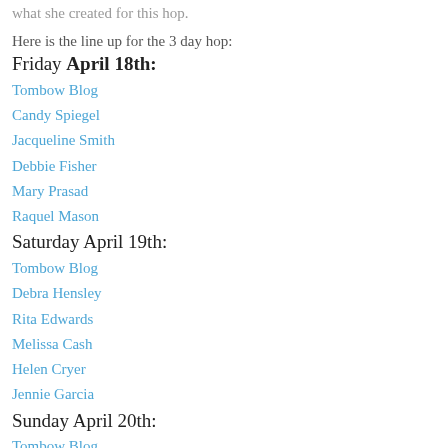what she created for this hop.
Here is the line up for the 3 day hop:
Friday April 18th:
Tombow Blog
Candy Spiegel
Jacqueline Smith
Debbie Fisher
Mary Prasad
Raquel Mason
Saturday April 19th:
Tombow Blog
Debra Hensley
Rita Edwards
Melissa Cash
Helen Cryer
Jennie Garcia
Sunday April 20th:
Tombow Blog
Frances Byrne
Kelly Booth
Marie Browning